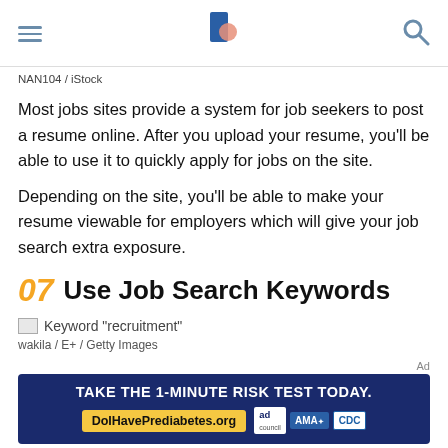Navigation bar with hamburger menu, logo, and search icon
NAN104 / iStock
Most jobs sites provide a system for job seekers to post a resume online. After you upload your resume, you'll be able to use it to quickly apply for jobs on the site.
Depending on the site, you'll be able to make your resume viewable for employers which will give your job search extra exposure.
07  Use Job Search Keywords
[Figure (photo): Keyword 'recruitment' image placeholder]
wakila / E+ / Getty Images
[Figure (other): Ad banner: TAKE THE 1-MINUTE RISK TEST TODAY. DoIHavePrediabetes.org with ad, AMA, and CDC logos]